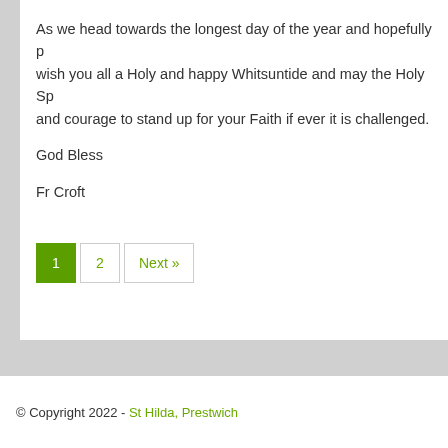As we head towards the longest day of the year and hopefully p wish you all a Holy and happy Whitsuntide and may the Holy Sp and courage to stand up for your Faith if ever it is challenged.
God Bless
Fr Croft
1  2  Next »
© Copyright 2022 - St Hilda, Prestwich